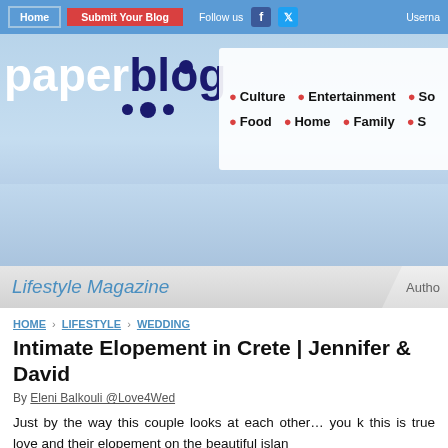Home | Submit Your Blog | Follow us | Username
[Figure (logo): Paperblog logo with blue and white text and dots, alongside navigation categories: Culture, Entertainment, So..., Food, Home, Family, S...]
Lifestyle Magazine
HOME › LIFESTYLE › WEDDING
Intimate Elopement in Crete | Jennifer & David
By Eleni Balkouli @Love4Wed
Just by the way this couple looks at each other… you k this is true love and their elopement on the beautiful islan